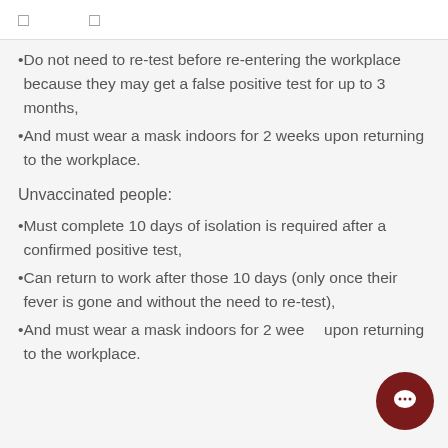□   □
Do not need to re-test before re-entering the workplace because they may get a false positive test for up to 3 months,
And must wear a mask indoors for 2 weeks upon returning to the workplace.
Unvaccinated people:
Must complete 10 days of isolation is required after a confirmed positive test,
Can return to work after those 10 days (only once their fever is gone and without the need to re-test),
And must wear a mask indoors for 2 weeks upon returning to the workplace.